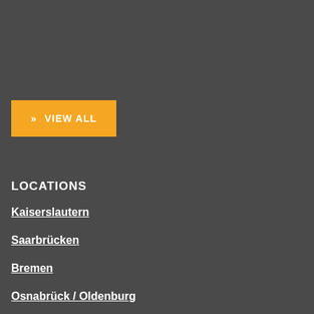>> VIEW ALL
LOCATIONS
Kaiserslautern
Saarbrücken
Bremen
Osnabrück / Oldenburg